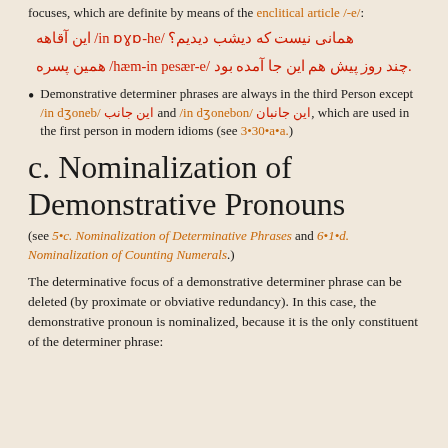focuses, which are definite by means of the enclitical article /-e/:
این آقاهه /in ɒɣɒ-he/ همانی نیست که دیشب دیدیم؟
همین پسره /hæm-in pesær-e/ چند روز پیش هم این جا آمده بود.
Demonstrative determiner phrases are always in the third Person except /in dʒoneb/ این جانب and /in dʒonebon/ این جانبان, which are used in the first person in modern idioms (see 3•30•a•a.)
c. Nominalization of Demonstrative Pronouns
(see 5•c. Nominalization of Determinative Phrases and 6•1•d. Nominalization of Counting Numerals.)
The determinative focus of a demonstrative determiner phrase can be deleted (by proximate or obviative redundancy). In this case, the demonstrative pronoun is nominalized, because it is the only constituent of the determiner phrase: